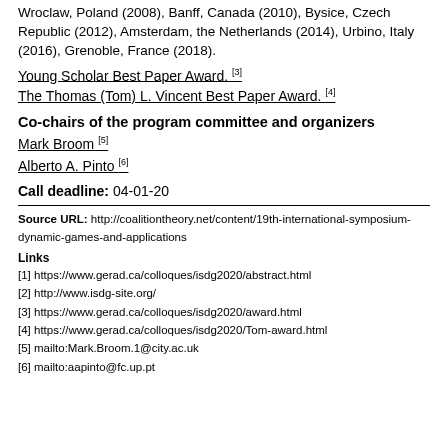Wroclaw, Poland (2008), Banff, Canada (2010), Bysice, Czech Republic (2012), Amsterdam, the Netherlands (2014), Urbino, Italy (2016), Grenoble, France (2018).
Young Scholar Best Paper Award. [3]
The Thomas (Tom) L. Vincent Best Paper Award. [4]
Co-chairs of the program committee and organizers
Mark Broom [5]
Alberto A. Pinto [6]
Call deadline: 04-01-20
Source URL: http://coalitiontheory.net/content/19th-international-symposium-dynamic-games-and-applications
Links
[1] https://www.gerad.ca/colloques/isdg2020/abstract.html
[2] http://www.isdg-site.org/
[3] https://www.gerad.ca/colloques/isdg2020/award.html
[4] https://www.gerad.ca/colloques/isdg2020/Tom-award.html
[5] mailto:Mark.Broom.1@city.ac.uk
[6] mailto:aapinto@fc.up.pt